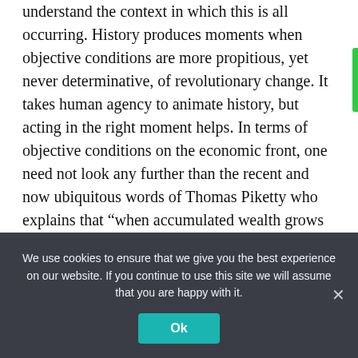understand the context in which this is all occurring. History produces moments when objective conditions are more propitious, yet never determinative, of revolutionary change. It takes human agency to animate history, but acting in the right moment helps. In terms of objective conditions on the economic front, one need not look any further than the recent and now ubiquitous words of Thomas Piketty who explains that “when accumulated wealth grows to extreme proportions…it becomes especially destabilizing” and that since the 1980s we have had “powerful forces pushing towards
We use cookies to ensure that we give you the best experience on our website. If you continue to use this site we will assume that you are happy with it.